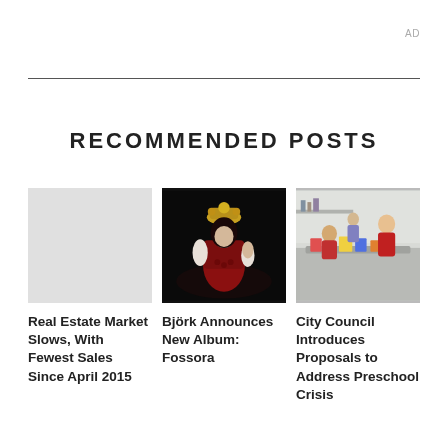AD
RECOMMENDED POSTS
[Figure (photo): Performer in red costume and ornate headdress on dark stage — Björk]
Björk Announces New Album: Fossora
[Figure (photo): Children and adults around tables in a classroom setting — preschool]
City Council Introduces Proposals to Address Preschool Crisis
Real Estate Market Slows, With Fewest Sales Since April 2015